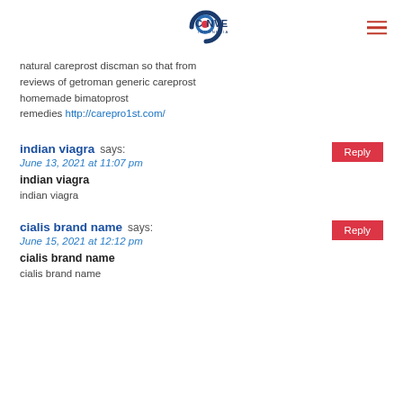[Figure (logo): Convey Indonesia logo with crescent/circle mark and text]
natural careprost discman so that from reviews of getroman generic careprost homemade bimatoprost remedies http://carepro1st.com/
indian viagra says:
June 13, 2021 at 11:07 pm
indian viagra
indian viagra
cialis brand name says:
June 15, 2021 at 12:12 pm
cialis brand name
cialis brand name